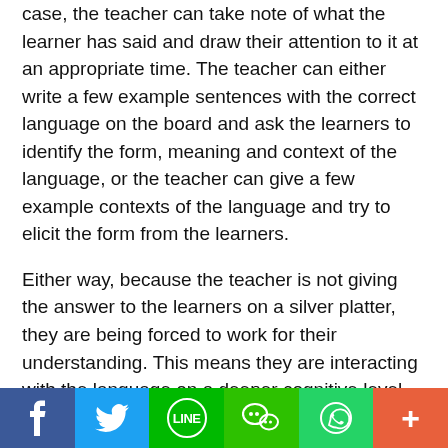case, the teacher can take note of what the learner has said and draw their attention to it at an appropriate time. The teacher can either write a few example sentences with the correct language on the board and ask the learners to identify the form, meaning and context of the language, or the teacher can give a few example contexts of the language and try to elicit the form from the learners.
Either way, because the teacher is not giving the answer to the learners on a silver platter, they are being forced to work for their understanding. This means they are interacting with the language on a deeper cognitive level which, in turn, means that the language will be that much more memorable.
At the same time, when a learner is able to understand a mistake and the correction themselves, they will feel a sense of pride and accomplishment. They will get a boost in
[Figure (infographic): Social media sharing bar with Facebook, Twitter, LINE, WeChat, WhatsApp, and a plus button icons on colored backgrounds.]